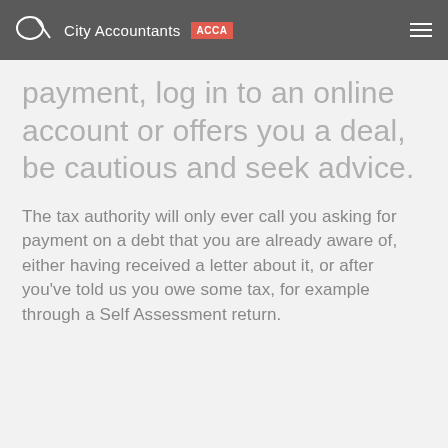City Accountants ACCA
payment, log in to an online account or offers you a deal, be cautious and seek advice.
The tax authority will only ever call you asking for payment on a debt that you are already aware of, either having received a letter about it, or after you've told us you owe some tax, for example through a Self Assessment return.